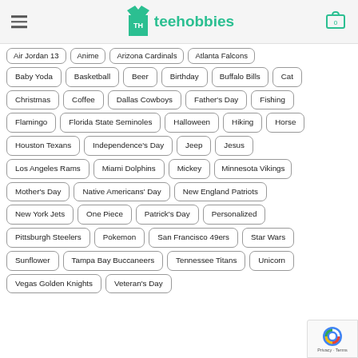teehobbies
Air Jordan 13
Anime
Arizona Cardinals
Atlanta Falcons
Baby Yoda
Basketball
Beer
Birthday
Buffalo Bills
Cat
Christmas
Coffee
Dallas Cowboys
Father's Day
Fishing
Flamingo
Florida State Seminoles
Halloween
Hiking
Horse
Houston Texans
Independence's Day
Jeep
Jesus
Los Angeles Rams
Miami Dolphins
Mickey
Minnesota Vikings
Mother's Day
Native Americans' Day
New England Patriots
New York Jets
One Piece
Patrick's Day
Personalized
Pittsburgh Steelers
Pokemon
San Francisco 49ers
Star Wars
Sunflower
Tampa Bay Buccaneers
Tennessee Titans
Unicorn
Vegas Golden Knights
Veteran's Day